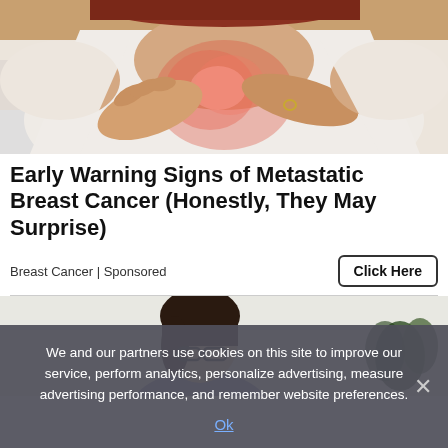[Figure (photo): Woman pressing hands against chest/heart area with reddish-pink glow highlighting the area, wearing white top, reddish-brown hair visible, suggesting chest pain or breast cancer awareness]
Early Warning Signs of Metastatic Breast Cancer (Honestly, They May Surprise)
Breast Cancer | Sponsored
[Figure (photo): Young woman with dark hair and glasses looking downward, light background, partial view]
We and our partners use cookies on this site to improve our service, perform analytics, personalize advertising, measure advertising performance, and remember website preferences.
Ok